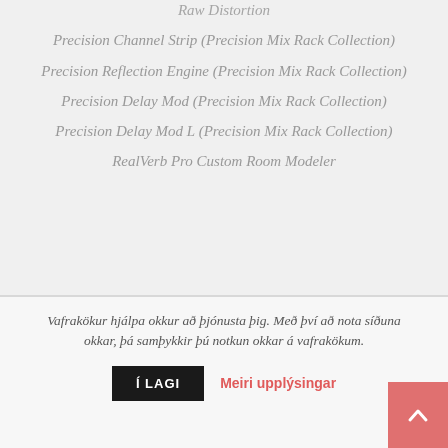Raw Distortion
Precision Channel Strip (Precision Mix Rack Collection)
Precision Reflection Engine (Precision Mix Rack Collection)
Precision Delay Mod (Precision Mix Rack Collection)
Precision Delay Mod L (Precision Mix Rack Collection)
RealVerb Pro Custom Room Modeler
Vafrakökur hjálpa okkur að þjónusta þig. Með því að nota síðuna okkar, þá samþykkir þú notkun okkar á vafrakökum.
Í LAGI
Meiri upplýsingar